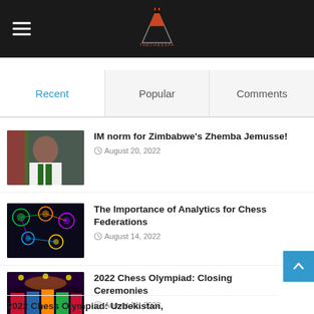[Figure (logo): Chess blog site logo and hamburger menu on dark header bar]
Recent | Popular | Comments
[Figure (photo): Photo of Zhemba Jemusse smiling in chess tournament attire]
IM norm for Zimbabwe's Zhemba Jemusse!
August 20, 2022
[Figure (illustration): Colorful network analytics graphic with chess-related icons]
The Importance of Analytics for Chess Federations
August 14, 2022
[Figure (photo): 2022 Chess Olympiad closing ceremonies stage with colorful flags]
2022 Chess Olympiad: Closing Ceremonies
August 11, 2022
2022 Chess Olympiad: Uzbekistan,